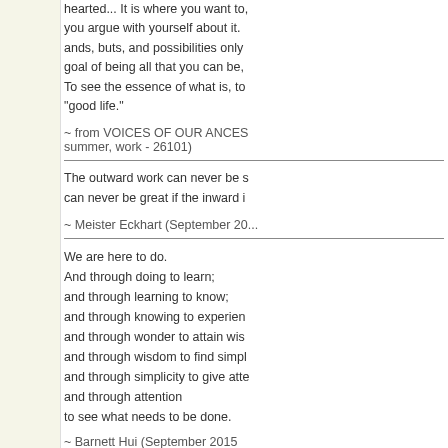hearted... It is where you want to, you argue with yourself about it. ands, buts, and possibilities only goal of being all that you can be, To see the essence of what is, to "good life."
~ from VOICES OF OUR ANCESTORS (summer, work - 26101)
The outward work can never be s can never be great if the inward i
~ Meister Eckhart (September 20...
We are here to do.
And through doing to learn;
and through learning to know;
and through knowing to experience;
and through wonder to attain wisdom;
and through wisdom to find simplicity;
and through simplicity to give attention;
and through attention
to see what needs to be done.
~ Barnett Hui (September 2015...